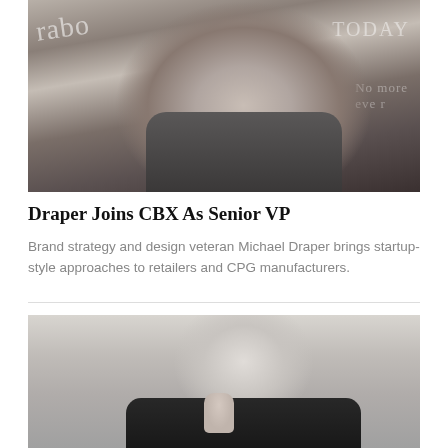[Figure (photo): Photo of Michael Draper, a man in a dark zip-up jacket, photographed in front of a chalkboard with cursive writing visible in the background]
Draper Joins CBX As Senior VP
Brand strategy and design veteran Michael Draper brings startup-style approaches to retailers and CPG manufacturers.
[Figure (photo): Photo of an older man with white/silver hair, wearing glasses and a dark jacket, in a thoughtful pose holding what appears to be a pen, against a light grey background]